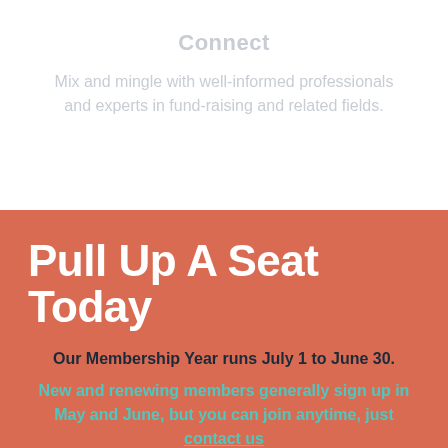Connect
Mix and mingle with well-informed professionals and experts in fund-raising and related fields.
Pull Up A Seat Today
Our Membership Year runs July 1 to June 30.
New and renewing members generally sign up in May and June, but you can join anytime, just contact us